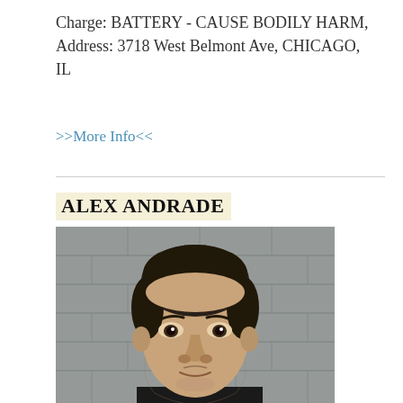Charge: BATTERY - CAUSE BODILY HARM, Address: 3718 West Belmont Ave, CHICAGO, IL
>>More Info<<
ALEX ANDRADE
[Figure (photo): Mugshot photo of Alex Andrade, a young man with short dark hair and light facial stubble, wearing a black shirt, photographed against a gray concrete block wall.]